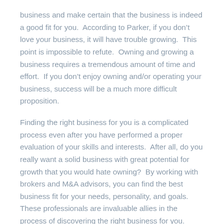business and make certain that the business is indeed a good fit for you.  According to Parker, if you don't love your business, it will have trouble growing.  This point is impossible to refute.  Owning and growing a business requires a tremendous amount of time and effort.  If you don't enjoy owning and/or operating your business, success will be a much more difficult proposition.
Finding the right business for you is a complicated process even after you have performed a proper evaluation of your skills and interests.  After all, do you really want a solid business with great potential for growth that you would hate owning?  By working with brokers and M&A advisors, you can find the best business fit for your needs, personality, and goals.  These professionals are invaluable allies in the process of discovering the right business for you.
Copyright: Business Brokerage Press, Inc.